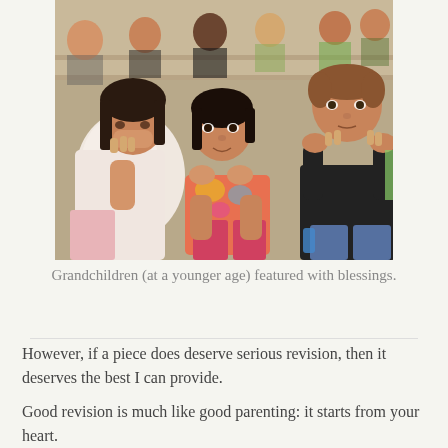[Figure (photo): A group of elementary school children sitting on bleachers or gym floor, watching something. In the foreground: a girl in a white floral dress with her hand covering her mouth, a girl in a colorful orange/pink top with her chin resting on her hands, and a boy in a dark jacket with both hands near his face. Other children visible in the background.]
Grandchildren (at a younger age) featured with blessings.
However, if a piece does deserve serious revision, then it deserves the best I can provide.
Good revision is much like good parenting: it starts from your heart.